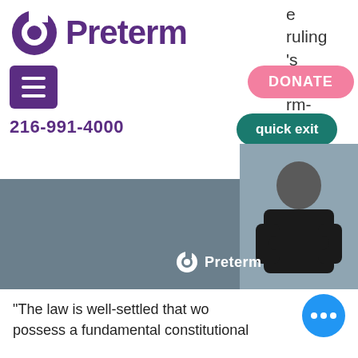[Figure (logo): Preterm logo with purple circular icon and bold purple text 'Preterm']
e
ruling
's
Chrisse
rm-
[Figure (illustration): Purple hamburger menu button icon]
[Figure (illustration): Pink DONATE button]
216-991-4000
[Figure (illustration): Teal quick exit button]
[Figure (photo): Banner with grey background showing Preterm logo overlay and a person (woman with dark hair, black clothing, arms crossed) on the right side]
“The law is well-settled that wo… possess a fundamental constitutional